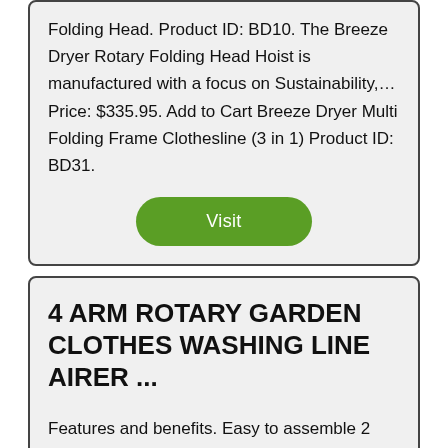Folding Head. Product ID: BD10. The Breeze Dryer Rotary Folding Head Hoist is manufactured with a focus on Sustainability,... Price: $335.95. Add to Cart Breeze Dryer Multi Folding Frame Clothesline (3 in 1) Product ID: BD31.
[Figure (other): Green rounded rectangle button with white text reading 'Visit']
4 ARM ROTARY GARDEN CLOTHES WASHING LINE AIRER ...
Features and benefits. Easy to assemble 2 piece centre pole. Easy to operate 4 stage line umbre clip / tensioning system, 40mm centre pole